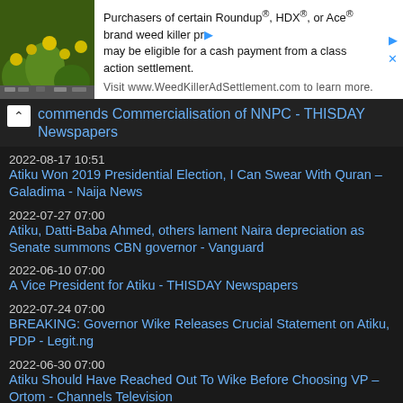[Figure (other): Advertisement banner with yellow flowers image on left and text about Roundup weed killer class action settlement on right]
commends Commercialisation of NNPC - THISDAY Newspapers
2022-08-17 10:51
Atiku Won 2019 Presidential Election, I Can Swear With Quran – Galadima - Naija News
2022-07-27 07:00
Atiku, Datti-Baba Ahmed, others lament Naira depreciation as Senate summons CBN governor - Vanguard
2022-06-10 07:00
A Vice President for Atiku - THISDAY Newspapers
2022-07-24 07:00
BREAKING: Governor Wike Releases Crucial Statement on Atiku, PDP - Legit.ng
2022-06-30 07:00
Atiku Should Have Reached Out To Wike Before Choosing VP – Ortom - Channels Television
2022-06-11 07:00
WHY ATIKU SHOULD CHOOSE OKOWA AS RUNNING